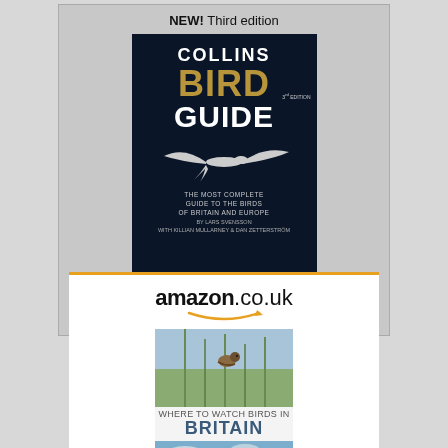NEW! Third edition
[Figure (illustration): Collins Bird Guide Third Edition book cover — dark navy background with title text COLLINS BIRD GUIDE and a bird in flight silhouette, subtitle: THE MOST COMPLETE GUIDE TO THE BIRDS OF BRITAIN AND EUROPE]
PRE-ORDER
[Figure (logo): amazon.co.uk logo with orange smile arrow]
[Figure (illustration): Book cover for 'Where to Watch Birds in Britain' showing a bird perched on reeds and a landscape image below]
Where to Watch Birds in Britain
£21.66
[Figure (logo): Amazon Prime checkmark badge logo in orange and blue]